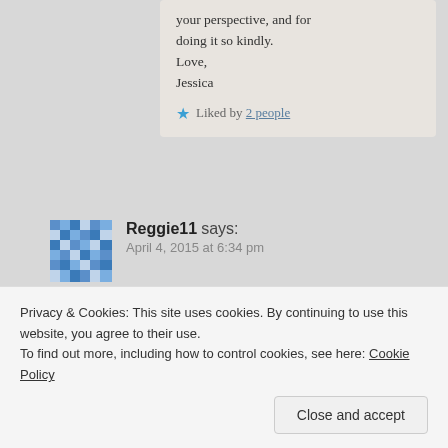your perspective, and for doing it so kindly.
Love,
Jessica
Liked by 2 people
Reggie11 says:
April 4, 2015 at 6:34 pm
Ame, didn’t mean to have you sad over my statements, I’m just trying to express various thoughts that go through my
Privacy & Cookies: This site uses cookies. By continuing to use this website, you agree to their use.
To find out more, including how to control cookies, see here: Cookie Policy
Close and accept